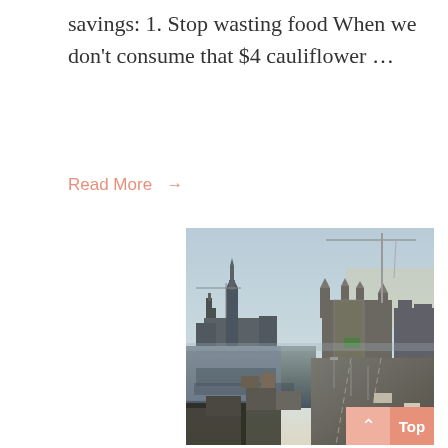savings: 1. Stop wasting food When we don't consume that $4 cauliflower …
Read More →
[Figure (photo): Aerial winter city view showing Ottawa Parliament buildings, a frozen Rideau Canal with crowds of people skating, a large construction crane, and a busy road with traffic on the right side, taken at dusk.]